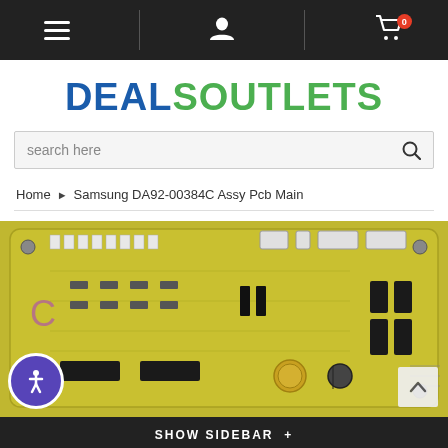Navigation bar with menu, user, and cart icons
DEALSOUTLETS
search here
Home > Samsung DA92-00384C Assy Pcb Main
[Figure (photo): Samsung DA92-00384C Assy PCB Main circuit board on yellow-green PCB with various electronic components including ICs, relays, connectors and capacitors]
SHOW SIDEBAR +